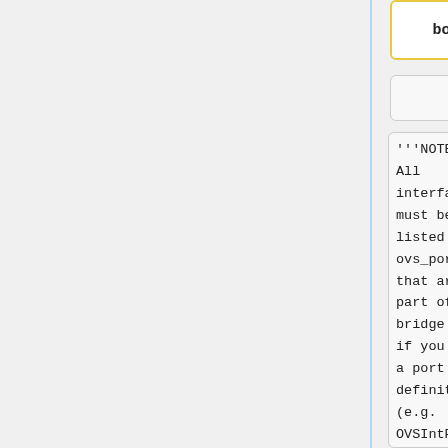bond0
'''NOTE''': All interfaces must be listed under ovs_ports that are part of the bridge even if you have a port definition (e.g. OVSIntPort) that cross-references the bridge!!!
'''NOTE''': All interfaces must be listed under ovs_ports that are part of the bridge even if you have a port definition (e.g. OVSIntPort) that cross-references the bridge!!!